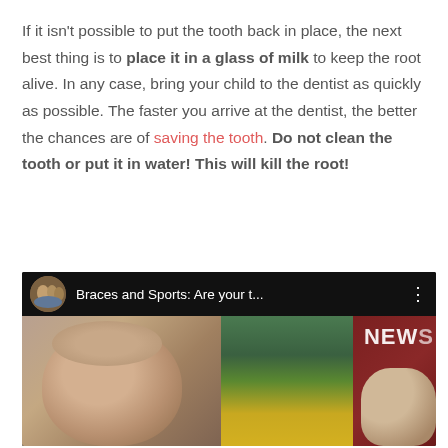If it isn't possible to put the tooth back in place, the next best thing is to place it in a glass of milk to keep the root alive. In any case, bring your child to the dentist as quickly as possible. The faster you arrive at the dentist, the better the chances are of saving the tooth. Do not clean the tooth or put it in water! This will kill the root!
[Figure (screenshot): YouTube video thumbnail showing 'Braces and Sports: Are your t...' with a news broadcast screenshot featuring a man and a NEWS chyron in the background.]